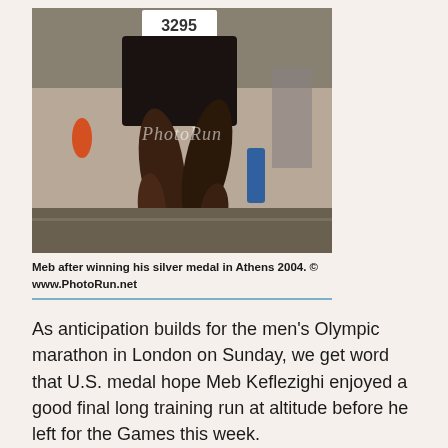[Figure (photo): Meb Keflezighi running, wearing race bib number 3295, photographed from waist down showing his legs in motion on a track. PhotoRun watermark visible.]
Meb after winning his silver medal in Athens 2004. © www.PhotoRun.net
As anticipation builds for the men's Olympic marathon in London on Sunday, we get word that U.S. medal hope Meb Keflezighi enjoyed a good final long training run at altitude before he left for the Games this week.
“He’s going to run great,” tweeted Scotty Bauhs, who accompanied him on the 14-miler at 9,000 feet in Mammoth Lakes, California. They covered the